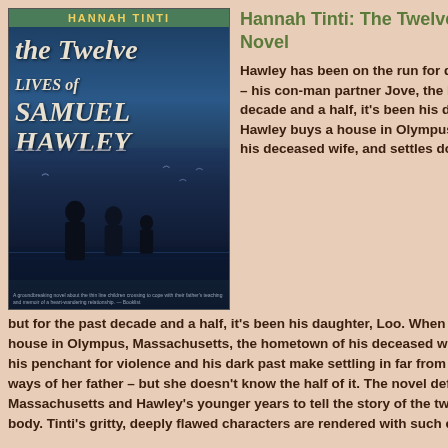[Figure (illustration): Book cover of 'The Twelve Lives of Samuel Hawley' by Hannah Tinti. Dark blue tones with silhouetted figures of adults and a child, with birds in the background. Green author banner at top with author name in yellow letters.]
Hannah Tinti: The Twelve Lives of Samuel Hawley: A Novel
Hawley has been on the run for decades. He's had various side-kicks – his con-man partner Jove, the love of his life, Lily – but for the past decade and a half, it's been his daughter, Loo. When she turns twelve, Hawley buys a house in Olympus, Massachusetts, the hometown of his deceased wife, and settles down for good. But his penchant for violence and his dark past make settling in far from easy. Loo, too, has picked up the ways of her father – but she doesn't know the half of it. The novel deftly alternates between present day Massachusetts and Hawley's younger years to tell the story of the twelve bullets that have scarred his body. Tinti's gritty, deeply flawed characters are rendered with such empathy that it's